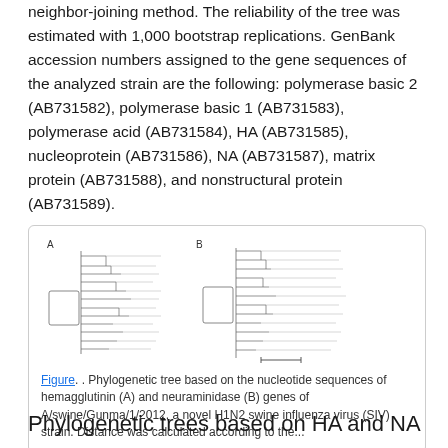neighbor-joining method. The reliability of the tree was estimated with 1,000 bootstrap replications. GenBank accession numbers assigned to the gene sequences of the analyzed strain are the following: polymerase basic 2 (AB731582), polymerase basic 1 (AB731583), polymerase acid (AB731584), HA (AB731585), nucleoprotein (AB731586), NA (AB731587), matrix protein (AB731588), and nonstructural protein (AB731589).
[Figure (other): Phylogenetic tree diagrams showing hemagglutinin (A) and neuraminidase (B) gene trees for A/swine/Gunma/1/2012]
Figure. . Phylogenetic tree based on the nucleotide sequences of hemagglutinin (A) and neuraminidase (B) genes of A/swine/Gunma/1/2012, a novel H1N2 swine influenza virus (SIV) strain. Distance was calculated according to the...
Phylogenetic trees based on HA and NA gene